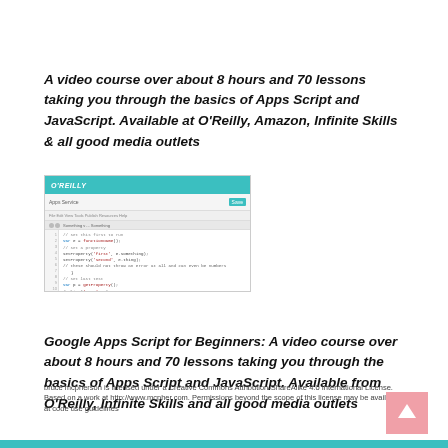A video course over about 8 hours and 70 lessons taking you through the basics of Apps Script and JavaScript. Available at O'Reilly, Amazon, Infinite Skills & all good media outlets
[Figure (screenshot): Screenshot of O'Reilly media player showing Google Apps Script code editor with teal header bar and code listing]
Google Apps Script for Beginners: A video course over about 8 hours and 70 lessons taking you through the basics of Apps Script and JavaScript. Available from O'Reilly, Infinite Skills and all good media outlets
bruce mcpherson is licensed under a Creative Commons Attribution-ShareAlike 4.0 International License. Based on a work at http://www.mcpher.com. Permissions beyond the scope of this license may be available at code use guidelines